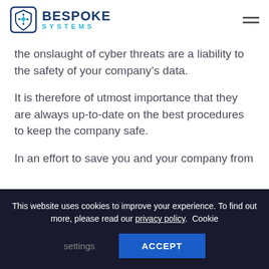BESPOKE SYSTEMS
the onslaught of cyber threats are a liability to the safety of your company’s data.
It is therefore of utmost importance that they are always up-to-date on the best procedures to keep the company safe.
In an effort to save you and your company from
This website uses cookies to improve your experience. To find out more, please read our privacy policy. Cookie settings ACCEPT